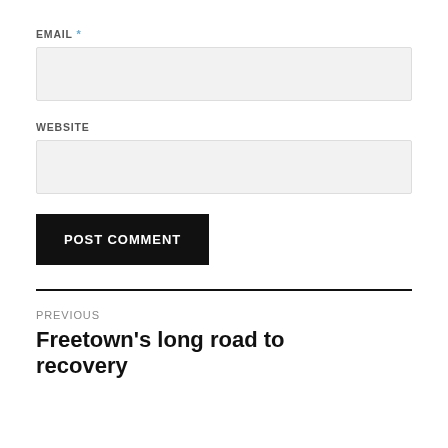EMAIL *
[Figure (other): Email input text field, light grey background]
WEBSITE
[Figure (other): Website input text field, light grey background]
POST COMMENT
PREVIOUS
Freetown's long road to recovery